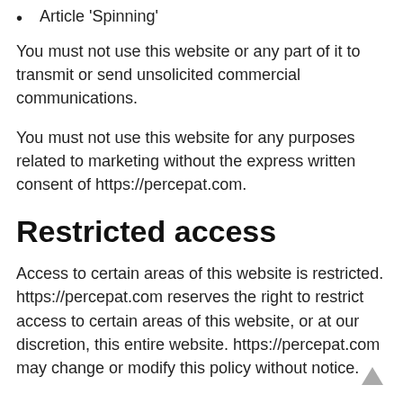Article 'Spinning'
You must not use this website or any part of it to transmit or send unsolicited commercial communications.
You must not use this website for any purposes related to marketing without the express written consent of https://percepat.com.
Restricted access
Access to certain areas of this website is restricted. https://percepat.com reserves the right to restrict access to certain areas of this website, or at our discretion, this entire website. https://percepat.com may change or modify this policy without notice.